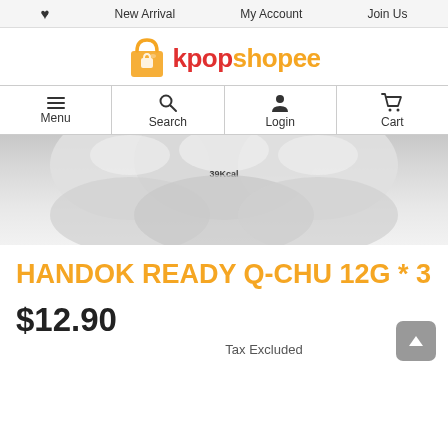♥  New Arrival  My Account  Join Us
[Figure (logo): kpopshopee logo with shopping bag icon, 'kpop' in red and 'shopee' in orange]
Menu  Search  Login  Cart
[Figure (photo): Product image showing Handok Ready Q-Chu candy packages, silver foil pouches labeled 39Kcal]
HANDOK READY Q-CHU 12G * 3
$12.90
Tax Excluded